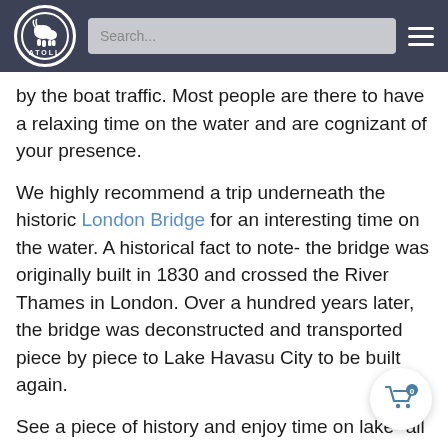ATOLL — navigation header with logo, search bar, and hamburger menu
by the boat traffic. Most people are there to have a relaxing time on the water and are cognizant of your presence.
We highly recommend a trip underneath the historic London Bridge for an interesting time on the water. A historical fact to note- the bridge was originally built in 1830 and crossed the River Thames in London. Over a hundred years later, the bridge was deconstructed and transported piece by piece to Lake Havasu City to be built again.
See a piece of history and enjoy time on lake- all in a day's fun at Lake Havasu!